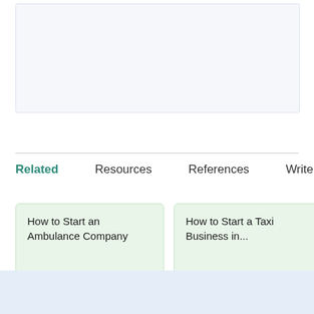[Figure (other): Light blue/grey placeholder content box at the top of the page]
Related	Resources	References	Writer
How to Start an Ambulance Company
How to Start a Taxi Business in...
Ho... Co...